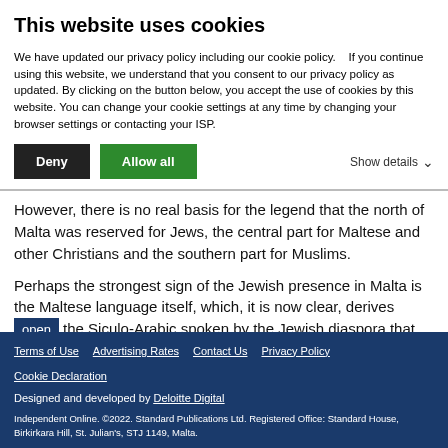This website uses cookies
We have updated our privacy policy including our cookie policy.    If you continue using this website, we understand that you consent to our privacy policy as updated. By clicking on the button below, you accept the use of cookies by this website. You can change your cookie settings at any time by changing your browser settings or contacting your ISP.
However, there is no real basis for the legend that the north of Malta was reserved for Jews, the central part for Maltese and other Christians and the southern part for Muslims.
Perhaps the strongest sign of the Jewish presence in Malta is the Maltese language itself, which, it is now clear, derives from the Siculo-Arabic spoken by the Jewish diaspora that
Terms of Use   Advertising Rates   Contact Us   Privacy Policy   Cookie Declaration

Designed and developed by Deloitte Digital

Independent Online. ©2022. Standard Publications Ltd. Registered Office: Standard House, Birkirkara Hill, St. Julian's, STJ 1149, Malta.